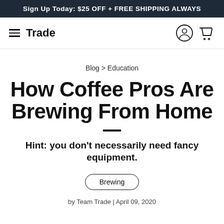Sign Up Today: $25 OFF + FREE SHIPPING ALWAYS
[Figure (logo): Trade logo with hamburger menu icon on the left and user/cart icons on the right]
Blog > Education
How Coffee Pros Are Brewing From Home
Hint: you don't necessarily need fancy equipment.
Brewing
by Team Trade | April 09, 2020